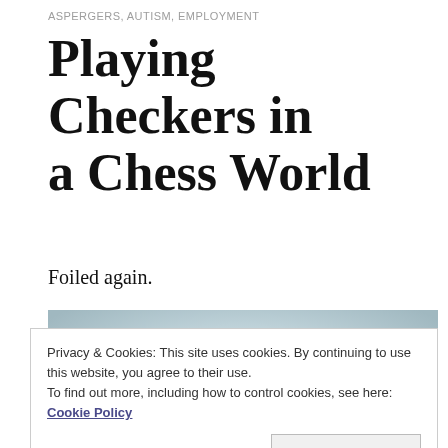ASPERGERS, AUTISM, EMPLOYMENT
Playing Checkers in a Chess World
Foiled again.
[Figure (photo): Close-up photo of checkers board game pieces — black and red checker discs on a light blue/green board surface, with blurred chess pieces visible in the background.]
Privacy & Cookies: This site uses cookies. By continuing to use this website, you agree to their use.
To find out more, including how to control cookies, see here: Cookie Policy